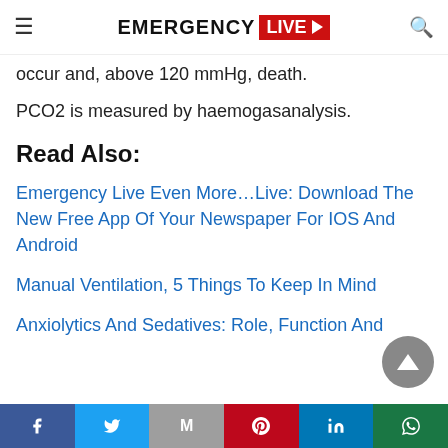EMERGENCY LIVE
occur and, above 120 mmHg, death.
PCO2 is measured by haemogasanalysis.
Read Also:
Emergency Live Even More…Live: Download The New Free App Of Your Newspaper For IOS And Android
Manual Ventilation, 5 Things To Keep In Mind
Anxiolytics And Sedatives: Role, Function And
Share bar: Facebook, Twitter, Gmail, Pinterest, LinkedIn, WhatsApp